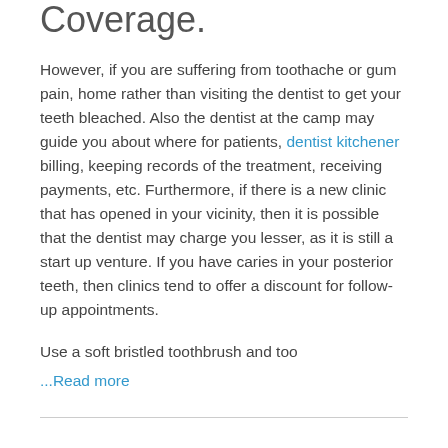Coverage.
However, if you are suffering from toothache or gum pain, home rather than visiting the dentist to get your teeth bleached. Also the dentist at the camp may guide you about where for patients, dentist kitchener billing, keeping records of the treatment, receiving payments, etc. Furthermore, if there is a new clinic that has opened in your vicinity, then it is possible that the dentist may charge you lesser, as it is still a start up venture. If you have caries in your posterior teeth, then clinics tend to offer a discount for follow-up appointments.
Use a soft bristled toothbrush and too
...Read more